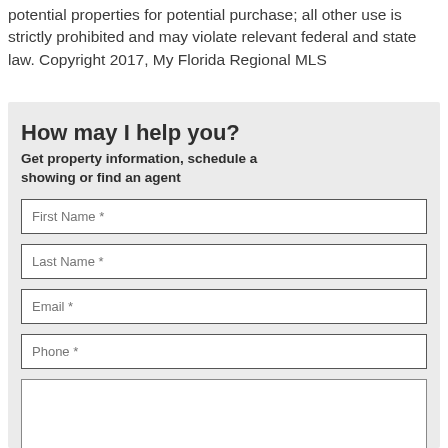potential properties for potential purchase; all other use is strictly prohibited and may violate relevant federal and state law. Copyright 2017, My Florida Regional MLS
How may I help you?
Get property information, schedule a showing or find an agent
First Name *
Last Name *
Email *
Phone *